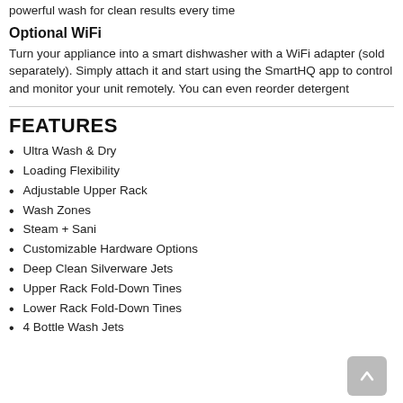make your kitchen more peaceful, while delivering a powerful wash for clean results every time
Optional WiFi
Turn your appliance into a smart dishwasher with a WiFi adapter (sold separately). Simply attach it and start using the SmartHQ app to control and monitor your unit remotely. You can even reorder detergent
FEATURES
Ultra Wash & Dry
Loading Flexibility
Adjustable Upper Rack
Wash Zones
Steam + Sani
Customizable Hardware Options
Deep Clean Silverware Jets
Upper Rack Fold-Down Tines
Lower Rack Fold-Down Tines
4 Bottle Wash Jets